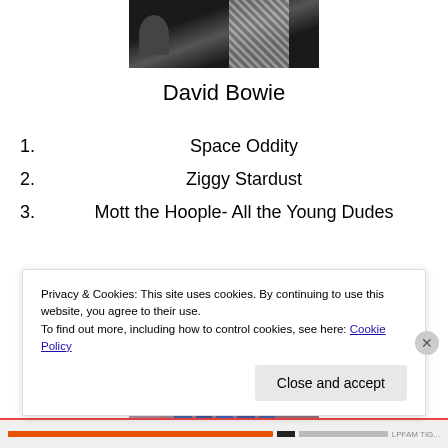[Figure (photo): Photo of David Bowie performing, showing patterned outfit, partially cropped]
David Bowie
1. Space Oddity
2. Ziggy Stardust
3. Mott the Hoople- All the Young Dudes
[Figure (photo): Group photo of several people standing together, likely a band photo with pink/purple background]
Privacy & Cookies: This site uses cookies. By continuing to use this website, you agree to their use.
To find out more, including how to control cookies, see here: Cookie Policy